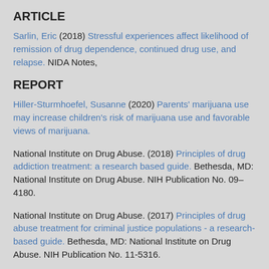ARTICLE
Sarlin, Eric (2018) Stressful experiences affect likelihood of remission of drug dependence, continued drug use, and relapse. NIDA Notes,
REPORT
Hiller-Sturmhoefel, Susanne (2020) Parents' marijuana use may increase children's risk of marijuana use and favorable views of marijuana.
National Institute on Drug Abuse. (2018) Principles of drug addiction treatment: a research based guide. Bethesda, MD: National Institute on Drug Abuse. NIH Publication No. 09–4180.
National Institute on Drug Abuse. (2017) Principles of drug abuse treatment for criminal justice populations - a research-based guide. Bethesda, MD: National Institute on Drug Abuse. NIH Publication No. 11-5316.
National Institute on Drug Abuse. (2014) Drugs, brains and